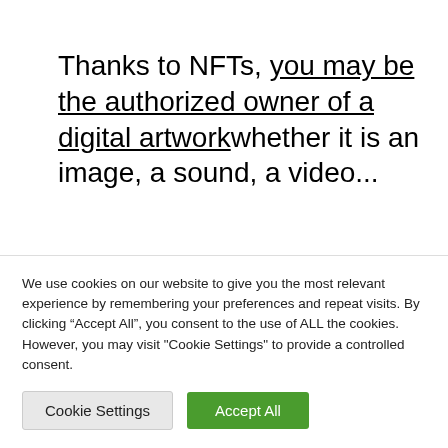Thanks to NFTs, you may be the authorized owner of a digital artworkwhether it is an image, a sound, a video...
So even if the image is copied, reproduced and distributed on the
We use cookies on our website to give you the most relevant experience by remembering your preferences and repeat visits. By clicking “Accept All”, you consent to the use of ALL the cookies. However, you may visit "Cookie Settings" to provide a controlled consent.